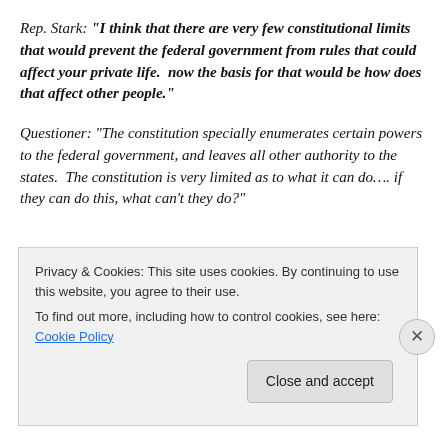Rep. Stark: "I think that there are very few constitutional limits that would prevent the federal government from rules that could affect your private life.  now the basis for that would be how does that affect other people."
Questioner: "The constitution specially enumerates certain powers to the federal government, and leaves all other authority to the states.  The constitution is very limited as to what it can do…. if they can do this, what can't they do?"
Privacy & Cookies: This site uses cookies. By continuing to use this website, you agree to their use.
To find out more, including how to control cookies, see here: Cookie Policy